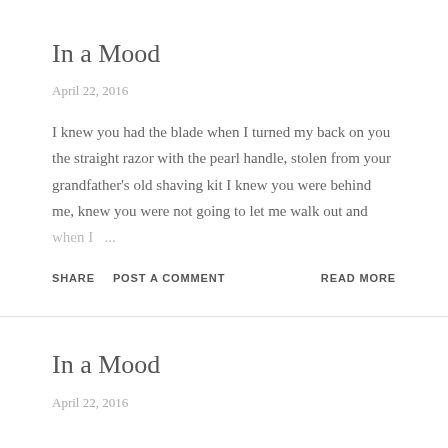In a Mood
April 22, 2016
I knew you had the blade when I turned my back on you the straight razor with the pearl handle, stolen from your grandfather's old shaving kit I knew you were behind me, knew you were not going to let me walk out and when I ...
SHARE   POST A COMMENT   READ MORE
In a Mood
April 22, 2016